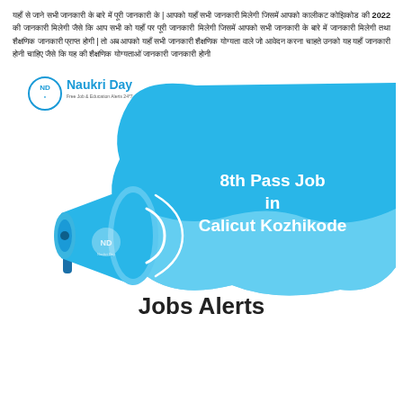Hindi text paragraph describing job/employment information for 2022 related to Calicut Kozhikode and educational/job alerts
[Figure (illustration): Naukri Day branding image with a megaphone/loudspeaker graphic on a light blue blob background. Text reads '8th Pass Job in Calicut Kozhikode' in white bold font, and 'Jobs Alerts' in dark bold font at the bottom. Naukri Day logo with ND initials in top left.]